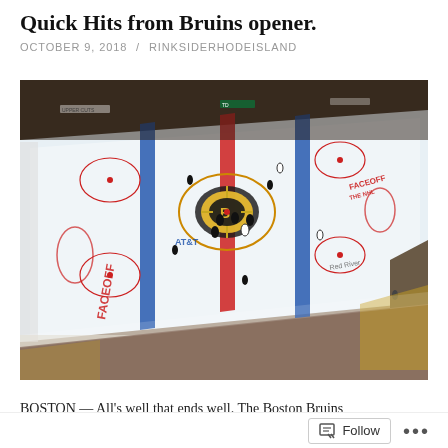Quick Hits from Bruins opener.
OCTOBER 9, 2018 / RINKSIDERHODEISLAND
[Figure (photo): Aerial view of Boston Bruins hockey game at TD Garden, showing the ice rink from above with players on the ice, AT&T and NHL FaceOff logos visible on the ice, packed crowd in the stands, Boston Bruins logo at center ice.]
BOSTON — All's well that ends well. The Boston Bruins